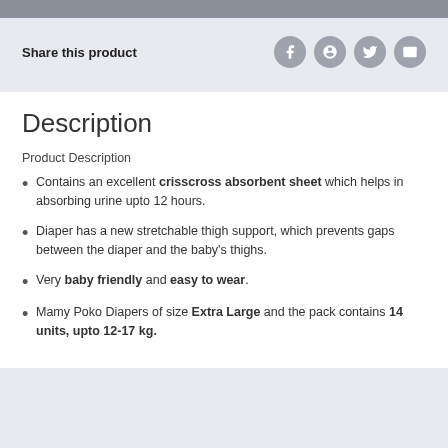Share this product
Description
Product Description
Contains an excellent crisscross absorbent sheet which helps in absorbing urine upto 12 hours.
Diaper has a new stretchable thigh support, which prevents gaps between the diaper and the baby's thighs.
Very baby friendly and easy to wear.
Mamy Poko Diapers of size Extra Large and the pack contains 14 units, upto 12-17 kg.